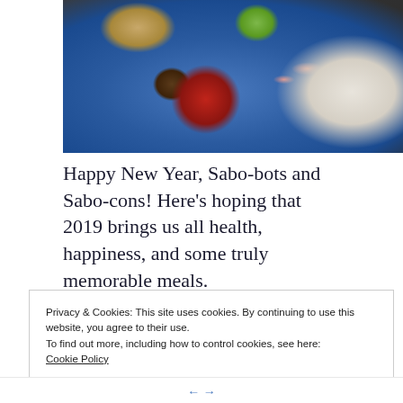[Figure (photo): A blue speckled plate with food including a burrito or tortilla with pink sauce drizzled on top, a dark brown meatball, red sauce, and a green lime wedge, photographed from above on a dark surface.]
Happy New Year, Sabo-bots and Sabo-cons! Here’s hoping that 2019 brings us all health, happiness, and some truly memorable meals.
Privacy & Cookies: This site uses cookies. By continuing to use this website, you agree to their use.
To find out more, including how to control cookies, see here:
Cookie Policy
Close and accept